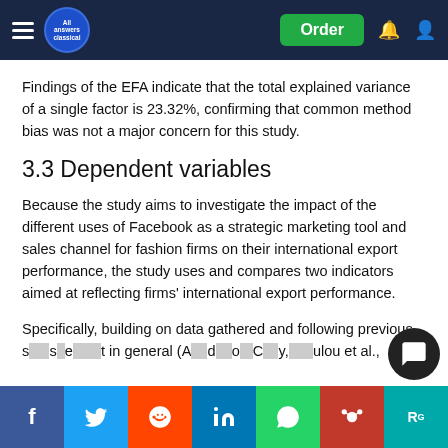All Answers Classical — Order
Findings of the EFA indicate that the total explained variance of a single factor is 23.32%, confirming that common method bias was not a major concern for this study.
3.3 Dependent variables
Because the study aims to investigate the impact of the different uses of Facebook as a strategic marketing tool and sales channel for fashion firms on their international export performance, the study uses and compares two indicators aimed at reflecting firms' international export performance.
Specifically, building on data gathered and following previous s… [continues]… in general (A… [continues]… lou et al.,